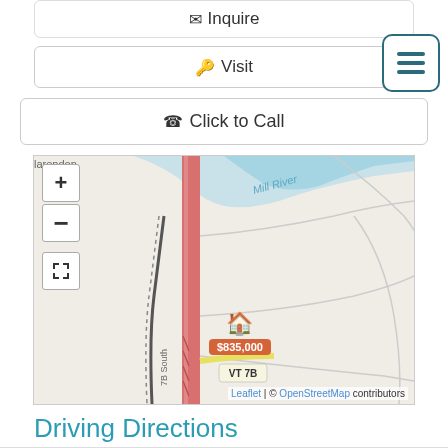✉ Inquire
🔑 Visit
📞 Click to Call
[Figure (map): OpenStreetMap showing area near Clarendon, Mill River, VT 7B with a property marker showing $835,000]
Driving Directions